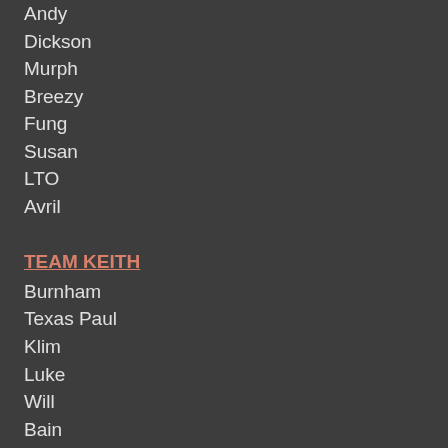Andy
Dickson
Murph
Breezy
Fung
Susan
LTO
Avril
TEAM KEITH
Burnham
Texas Paul
Klim
Luke
Will
Bain
Sea Bass
Cotterel
Drea
Beth
Elizabeth
Kirby